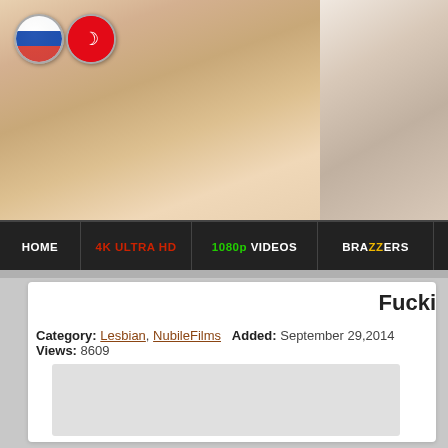[Figure (photo): Adult content website banner with two images of a dark-haired woman. Russian and Turkish flag icons visible in top-left corner.]
HOME | 4K ULTRA HD | 1080p VIDEOS | BRAZZERS | BLACKE
Fucki
Category: Lesbian, NubileFilms  Added: September 29,2014  Views: 8609
[Figure (other): Video player placeholder area (light gray rectangle)]